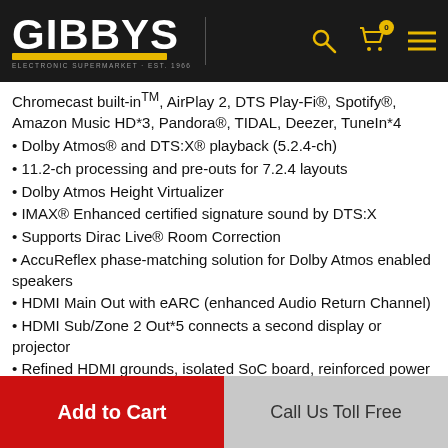[Figure (logo): Gibbys Electronic Supermarket logo with yellow underline on black header bar, with search, cart (badge 0), and menu icons]
Chromecast built-inTM, AirPlay 2, DTS Play-Fi®, Spotify®, Amazon Music HD*3, Pandora®, TIDAL, Deezer, TuneIn*4
Dolby Atmos® and DTS:X® playback (5.2.4-ch)
11.2-ch processing and pre-outs for 7.2.4 layouts
Dolby Atmos Height Virtualizer
IMAX® Enhanced certified signature sound by DTS:X
Supports Dirac Live® Room Correction
AccuReflex phase-matching solution for Dolby Atmos enabled speakers
HDMI Main Out with eARC (enhanced Audio Return Channel)
HDMI Sub/Zone 2 Out*5 connects a second display or projector
Refined HDMI grounds, isolated SoC board, reinforced power lines
• 2.4GHz & 5GHz to 300 Mbps (2x2 MIMO) Wi...
Add to Cart
Call Us Toll Free